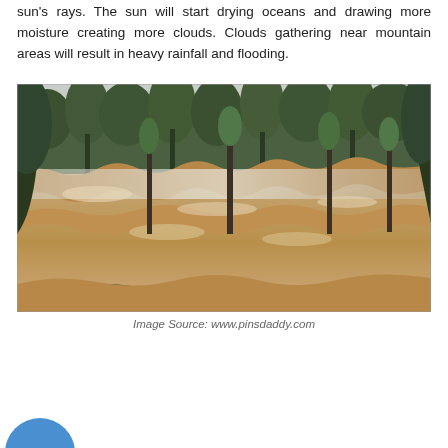sun's rays. The sun will start drying oceans and drawing more moisture creating more clouds. Clouds gathering near mountain areas will result in heavy rainfall and flooding.
[Figure (photo): Photo of a violent flash flood rushing through a forested mountain area with turbulent brown muddy water and green trees in the background.]
Image Source: www.pinsdaddy.com